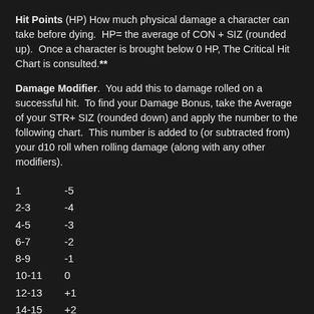Hit Points (HP) How much physical damage a character can take before dying.  HP= the average of CON + SIZ (rounded up).  Once a character is brought below 0 HP, The Critical Hit Chart is consulted.**
Damage Modifier.  You add this to damage rolled on a successful hit.  To find your Damage Bonus, take the Average of your STR+ SIZ (rounded down) and apply the number to the following chart.  This number is added to (or subtracted from) your d10 roll when rolling damage (along with any other modifiers).
| Range | Modifier |
| --- | --- |
| 1 | -5 |
| 2-3 | -4 |
| 4-5 | -3 |
| 6-7 | -2 |
| 8-9 | -1 |
| 10-11 | 0 |
| 12-13 | +1 |
| 14-15 | +2 |
| 16-17 | +3 |
| 18-19 | +4 |
| 20-21 | +5 |